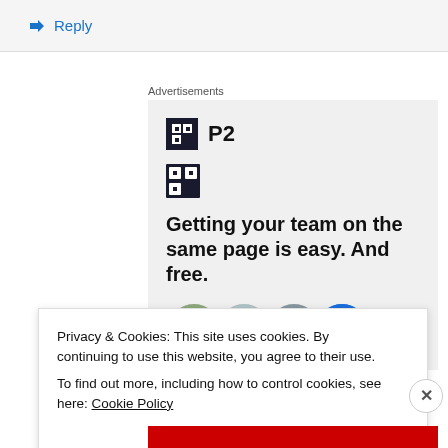↳ Reply
Advertisements
[Figure (logo): P2 logo with dark square icon and bold P2 text, followed by ad headline: Getting your team on the same page is easy. And free. with avatar images below.]
Privacy & Cookies: This site uses cookies. By continuing to use this website, you agree to their use.
To find out more, including how to control cookies, see here: Cookie Policy